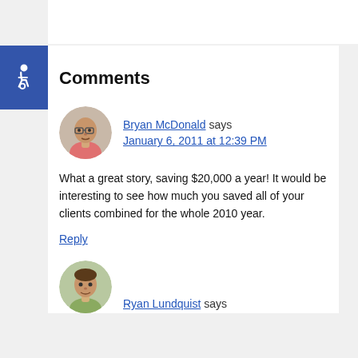Comments
Bryan McDonald says
January 6, 2011 at 12:39 PM
What a great story, saving $20,000 a year! It would be interesting to see how much you saved all of your clients combined for the whole 2010 year.
Reply
Ryan Lundquist says